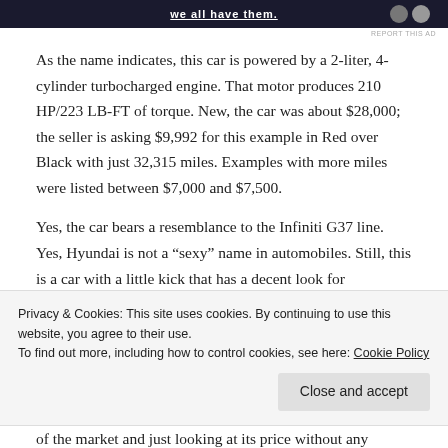[Figure (other): Dark advertisement banner with white bold underlined text and circular icons on the right side]
As the name indicates, this car is powered by a 2-liter, 4-cylinder turbocharged engine. That motor produces 210 HP/223 LB-FT of torque. New, the car was about $28,000; the seller is asking $9,992 for this example in Red over Black with just 32,315 miles. Examples with more miles were listed between $7,000 and $7,500.
Yes, the car bears a resemblance to the Infiniti G37 line. Yes, Hyundai is not a “sexy” name in automobiles. Still, this is a car with a little kick that has a decent look for
Privacy & Cookies: This site uses cookies. By continuing to use this website, you agree to their use.
To find out more, including how to control cookies, see here: Cookie Policy
of the market and just looking at its price without any